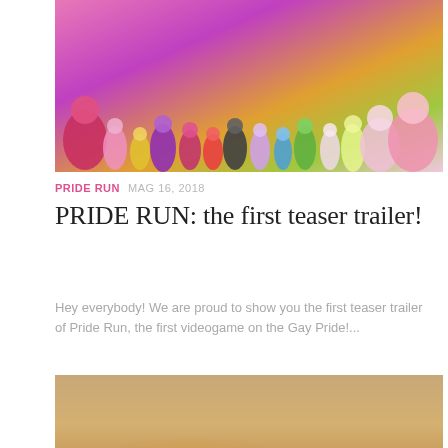[Figure (illustration): Colorful cartoon/illustrated characters standing together — a diverse group including various body types and outfits with Pride-themed colors (pink, purple, rainbow), on a pink/purple background. Appears to be promotional art for the game 'Pride Run'.]
PRIDE RUN   MAG 16, 2018
PRIDE RUN: the first teaser trailer!
Hey everybody! We are proud to show you the first teaser trailer of Pride Run, the first videogame on the Gay Pride!...
[Figure (photo): A 3D rendered or photorealistic image of an orange/gold colored commercial passenger airplane (labeled 'ITAVIA') on a runway or airfield, with a warm golden/amber atmospheric background suggesting dusk or haze. The aircraft appears to be landing or rolling on the ground.]